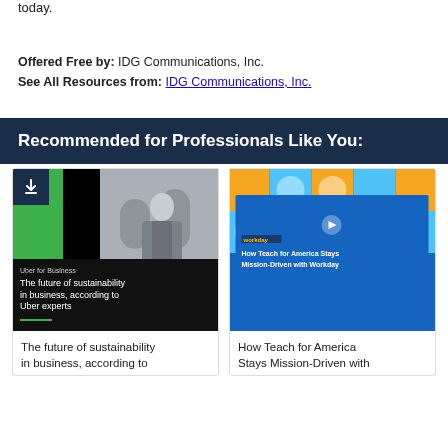today.
Offered Free by: IDG Communications, Inc.
See All Resources from: IDG Communications, Inc.
Recommended for Professionals Like You:
[Figure (photo): Card for 'The future of sustainability in business, according to Uber experts' showing a man in a suit next to a car, with Uber for Business branding on a dark background with green accent]
The future of sustainability in business, according to
[Figure (screenshot): Card for 'How Teach for America Stays Mission-Driven with Workday' showing a colorful mosaic/tile background with a video thumbnail on blue background]
How Teach for America Stays Mission-Driven with